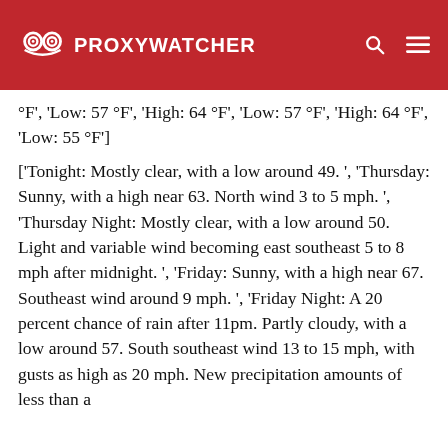PROXYWATCHER
°F', 'Low: 57 °F', 'High: 64 °F', 'Low: 57 °F', 'High: 64 °F', 'Low: 55 °F']
['Tonight: Mostly clear, with a low around 49. ', 'Thursday: Sunny, with a high near 63. North wind 3 to 5 mph. ', 'Thursday Night: Mostly clear, with a low around 50. Light and variable wind becoming east southeast 5 to 8 mph after midnight. ', 'Friday: Sunny, with a high near 67. Southeast wind around 9 mph. ', 'Friday Night: A 20 percent chance of rain after 11pm. Partly cloudy, with a low around 57. South southeast wind 13 to 15 mph, with gusts as high as 20 mph. New precipitation amounts of less than a